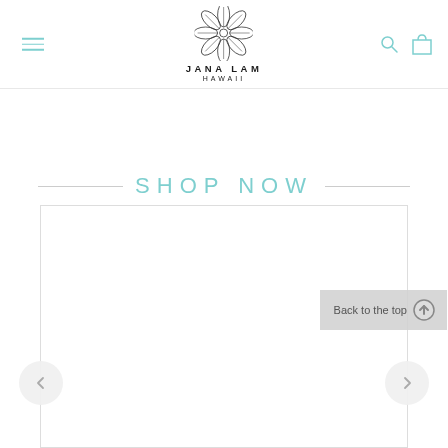[Figure (logo): Jana Lam Hawaii logo with hibiscus flower illustration above the text JANA LAM HAWAII]
SHOP NOW
[Figure (screenshot): Carousel product display area with left and right navigation arrows and Back to the top button]
Back to the top